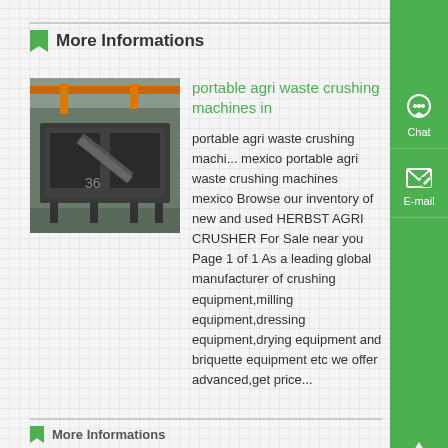More Informations
[Figure (photo): Industrial crusher/screening machine inside a factory or warehouse setting with orange crane beams visible overhead]
portable agri waste crushing machines in
portable agri waste crushing machines mexico portable agri waste crushing machines mexico Browse our inventory of new and used HERBST AGRI CRUSHER For Sale near you Page 1 of 1 As a leading global manufacturer of crushing equipment,milling equipment,dressing equipment,drying equipment and briquette equipment etc we offer advanced,get price...
More Informations